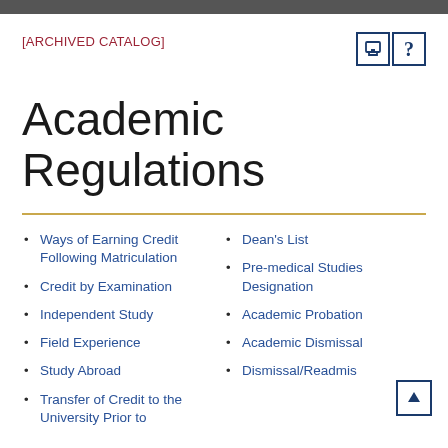[ARCHIVED CATALOG]
Academic Regulations
Ways of Earning Credit Following Matriculation
Credit by Examination
Independent Study
Field Experience
Study Abroad
Transfer of Credit to the University Prior to
Dean's List
Pre-medical Studies Designation
Academic Probation
Academic Dismissal
Dismissal/Readmis